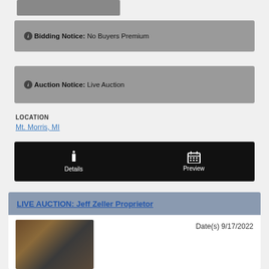[Figure (photo): Partial view of an item image at the top of the page]
Bidding Notice: No Buyers Premium
Auction Notice: Live Auction
LOCATION
Mt. Morris, MI
Details  Preview
LIVE AUCTION: Jeff Zeller Proprietor
Date(s) 9/17/2022
[Figure (photo): ATV or motorcycle in a garage setting]